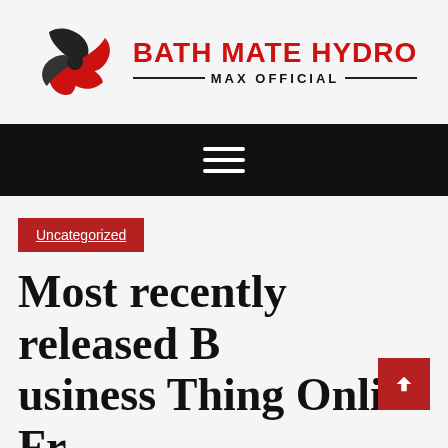[Figure (logo): Bath Mate Hydro Max Official logo with red/black swirl icon and bold red text 'BATH MATE HYDRO' above 'MAX OFFICIAL' in black with decorative lines]
[Figure (other): Black navigation bar with white hamburger menu icon (three horizontal lines)]
Uncategorized
Most recently released Business Thing Online From Newspaper To help yo